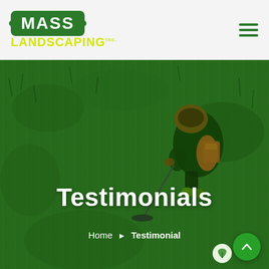MASS LANDSCAPING Inc.
[Figure (photo): Aerial view of a landscaping worker using a string trimmer on a lush green lawn, viewed from above. The background is bright green grass covering most of the frame.]
Testimonials
Home ▶ Testimonial